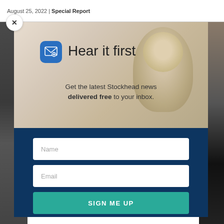August 25, 2022 | Special Report
[Figure (screenshot): Newsletter signup modal popup overlay on a news website. Modal has a hero section with an email icon, 'Hear it first' heading, subtitle text about Stockhead news delivered free, and a dark navy form section with Name field, Email field, and SIGN ME UP button. A close X button appears top-left of modal.]
Hear it first
Get the latest Stockhead news delivered free to your inbox.
Name
Email
SIGN ME UP